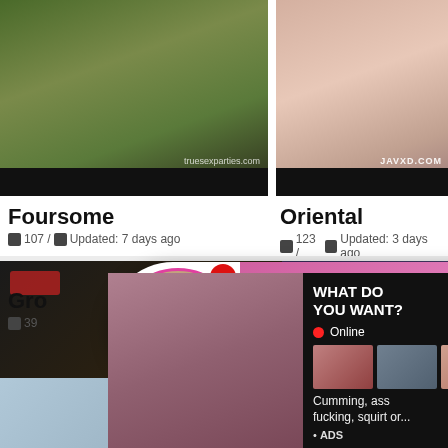[Figure (screenshot): Video thumbnail left - outdoor scene]
[Figure (screenshot): Video thumbnail right - JAVXD.COM watermark]
Foursome
107 / Updated: 7 days ago
Oriental
123 / Updated: 3 days ago
[Figure (screenshot): ADS popup - Jeniffer 2000 LIVE ad with avatar and pink gradient background]
ADS
Jeniffer 2000
(00:12)
[Figure (screenshot): Bottom ad - WHAT DO YOU WANT? WATCH button, Online status, small thumbnails, Cumming ass fucking squirt or... ADS]
WHAT DO YOU WANT?
Online
Cumming, ass fucking, squirt or...
• ADS
Gro
39